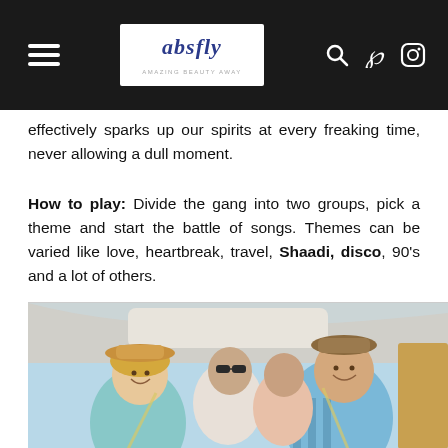absfly
effectively sparks up our spirits at every freaking time, never allowing a dull moment.
How to play: Divide the gang into two groups, pick a theme and start the battle of songs. Themes can be varied like love, heartbreak, travel, Shaadi, disco, 90’s and a lot of others.
[Figure (photo): Group of young friends smiling inside a car on a road trip, viewed from inside the vehicle looking toward the front seats.]